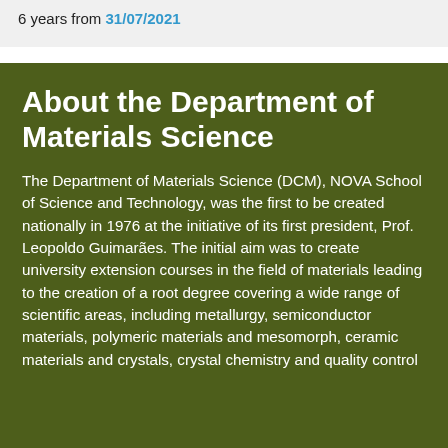6 years from 31/07/2021
About the Department of Materials Science
The Department of Materials Science (DCM), NOVA School of Science and Technology, was the first to be created nationally in 1976 at the initiative of its first president, Prof. Leopoldo Guimarães. The initial aim was to create university extension courses in the field of materials leading to the creation of a root degree covering a wide range of scientific areas, including metallurgy, semiconductor materials, polymeric materials and mesomorph, ceramic materials and crystals, crystal chemistry and quality control